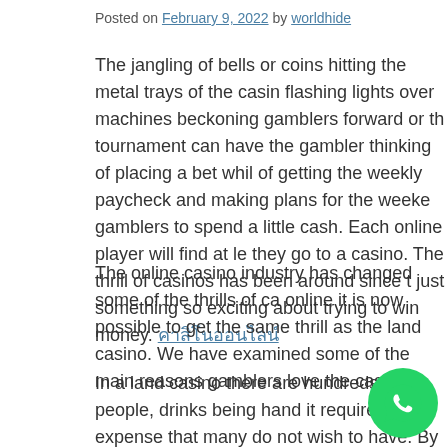Posted on February 9, 2022 by worldhide
The jangling of bells or coins hitting the metal trays of the casino, flashing lights over machines beckoning gamblers forward or the tournament can have the gambler thinking of placing a bet while of getting the weekly paycheck and making plans for the weeke gamblers to spend a little cash. Each online player will find at le they go to a casino. The thrill of casinos has been around since t just something so exciting about trying to win money. คาสิโนออนไลน์
The online casino industry has changed some of the thrills of ca online it is now possible to get the same thrill as the land casino. We have examined some of the main reasons gamblers love the casinos.
In a land casino there are hundreds of people, drinks being hand it requires an expense that many do not wish to have. By staying best online casinos, gamblers are able to spend less and no is to see that bankroll increase on a poker game, online casino s.
[Figure (logo): WhatsApp contact button, green circle with white phone icon]